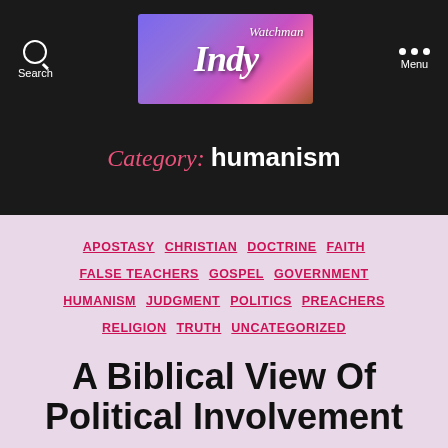[Figure (logo): Indy Watchman website logo with stylized text on purple/pink gradient background]
Category: humanism
APOSTASY
CHRISTIAN
DOCTRINE
FAITH
FALSE TEACHERS
GOSPEL
GOVERNMENT
HUMANISM
JUDGMENT
POLITICS
PREACHERS
RELIGION
TRUTH
UNCATEGORIZED
A Biblical View Of Political Involvement